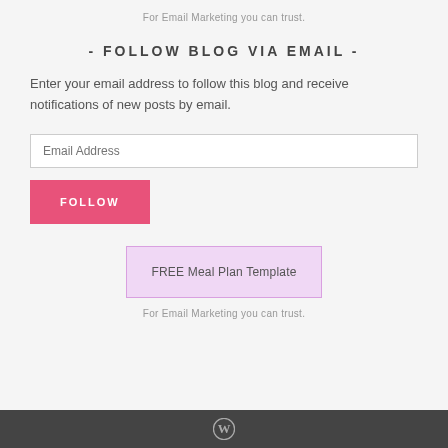For Email Marketing you can trust.
- FOLLOW BLOG VIA EMAIL -
Enter your email address to follow this blog and receive notifications of new posts by email.
Email Address
FOLLOW
FREE Meal Plan Template
For Email Marketing you can trust.